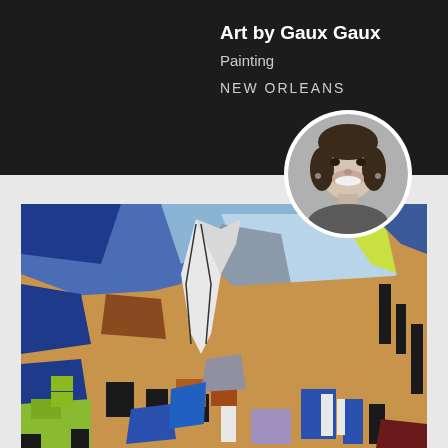Art by Gaux Gaux
Painting
NEW ORLEANS
[Figure (photo): Black and white circular portrait photo of the artist, a woman smiling]
[Figure (photo): Abstract painting with blues, golds/oranges, greens and black. Features a white heart-like shape in the center over an abstract cityscape background with bold brush strokes and geometric forms.]